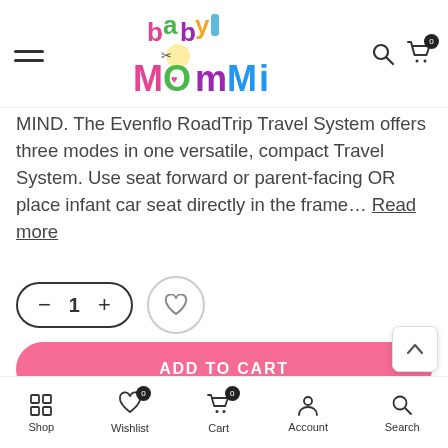Baby Mommi — navigation header with logo, hamburger menu, search and cart icons
MIND. The Evenflo RoadTrip Travel System offers three modes in one versatile, compact Travel System. Use seat forward or parent-facing OR place infant car seat directly in the frame… Read more
[Figure (screenshot): Quantity selector pill with minus, 1, plus controls and a heart/wishlist circular button]
[Figure (screenshot): Pink rounded ADD TO CART button]
[Figure (screenshot): Dark/black rounded BUY IT NOW button]
Bottom navigation bar: Shop, Wishlist (0), Cart (0), Account, Search